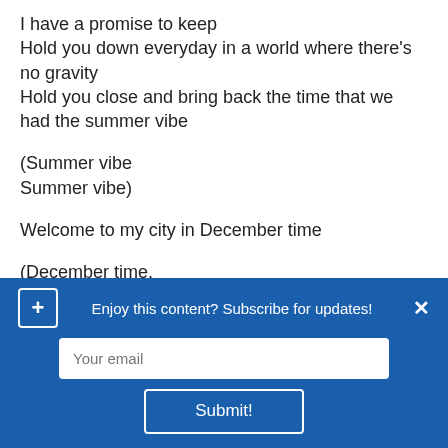I have a promise to keep
Hold you down everyday in a world where there's no gravity
Hold you close and bring back the time that we had the summer vibe
(Summer vibe
Summer vibe)
Welcome to my city in December time
(December time,
Enjoy this content? Subscribe for updates!